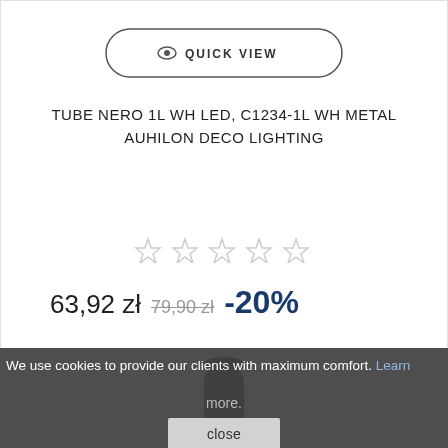[Figure (screenshot): Quick View button with eye icon, pill-shaped border]
TUBE NERO 1L WH LED, C1234-1L WH METAL AUHILON DECO LIGHTING
[Figure (other): 5 empty star rating icons]
63,92 zł  79,90 zł  -20%
[Figure (photo): Product image of a black cylindrical lamp/light fixture]
We use cookies to provide our clients with maximum comfort. Learn more.
close